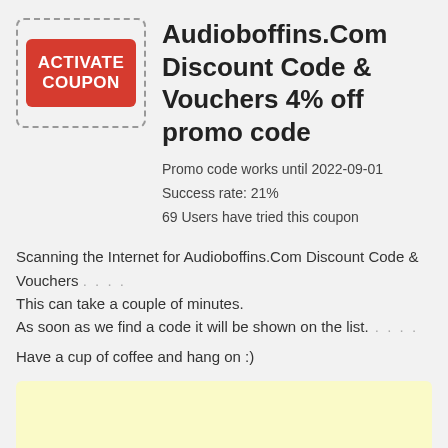[Figure (illustration): Red button with white bold text reading ACTIVATE COUPON inside a dashed border box]
Audioboffins.Com Discount Code & Vouchers 4% off promo code
Promo code works until 2022-09-01
Success rate: 21%
69 Users have tried this coupon
Scanning the Internet for Audioboffins.Com Discount Code & Vouchers . . . .
This can take a couple of minutes.
As soon as we find a code it will be shown on the list. . . . .
Have a cup of coffee and hang on :)
[Figure (other): Light yellow advertisement placeholder box]